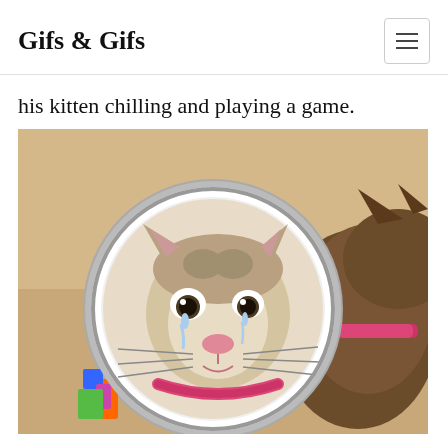Gifs & Gifs
his kitten chilling and playing a game.
[Figure (photo): A kitten with a pink collar looking at its reflection in a round illuminated vanity mirror. The reflection shows the cat appearing to cry with teary eyes. The cat is seen from behind on the right side of the frame.]